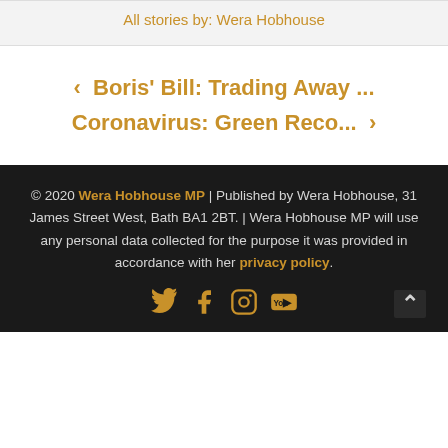All stories by: Wera Hobhouse
< Boris' Bill: Trading Away ...
Coronavirus: Green Reco... >
© 2020 Wera Hobhouse MP | Published by Wera Hobhouse, 31 James Street West, Bath BA1 2BT. | Wera Hobhouse MP will use any personal data collected for the purpose it was provided in accordance with her privacy policy.